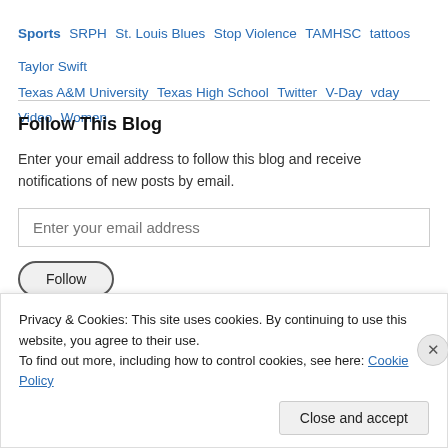Sports SRPH St. Louis Blues Stop Violence TAMHSC tattoos Taylor Swift Texas A&M University Texas High School Twitter V-Day vday Video Women
Follow This Blog
Enter your email address to follow this blog and receive notifications of new posts by email.
Enter your email address
Follow
Privacy & Cookies: This site uses cookies. By continuing to use this website, you agree to their use.
To find out more, including how to control cookies, see here: Cookie Policy
Close and accept